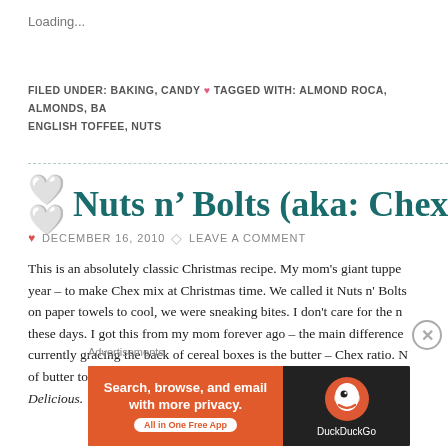Loading...
FILED UNDER: BAKING, CANDY ♥ TAGGED WITH: ALMOND ROCA, ALMONDS, BA... ENGLISH TOFFEE, NUTS
🤍 Nuts n' Bolts (aka: Chex Mi...
♥ DECEMBER 16, 2010  ◇ LEAVE A COMMENT
This is an absolutely classic Christmas recipe. My mom's giant tuppe... year – to make Chex mix at Christmas time. We called it Nuts n' Bolts... on paper towels to cool, we were sneaking bites. I don't care for the n... these days. I got this from my mom forever ago – the main difference... currently gracing the back of cereal boxes is the butter – Chex ratio. N... of butter to 9 cups of cereal. This one has the same amount of butter,... Delicious.
Advertisements
[Figure (screenshot): DuckDuckGo advertisement banner: Search, browse, and email with more privacy. All in One Free App. DuckDuckGo logo on dark background.]